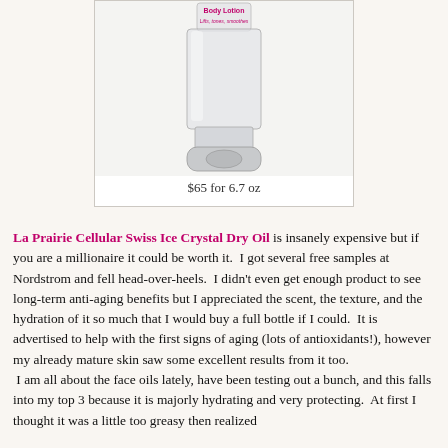[Figure (photo): Product photo of a body lotion bottle with text 'Body Lotion Lifts, tones, smoothes' on label, price listed as $65 for 6.7 oz]
$65 for 6.7 oz
La Prairie Cellular Swiss Ice Crystal Dry Oil is insanely expensive but if you are a millionaire it could be worth it. I got several free samples at Nordstrom and fell head-over-heels. I didn't even get enough product to see long-term anti-aging benefits but I appreciated the scent, the texture, and the hydration of it so much that I would buy a full bottle if I could. It is advertised to help with the first signs of aging (lots of antioxidants!), however my already mature skin saw some excellent results from it too. I am all about the face oils lately, have been testing out a bunch, and this falls into my top 3 because it is majorly hydrating and very protecting. At first I thought it was a little too greasy then realized I was using too much of it. A little bit goes a long way. But...